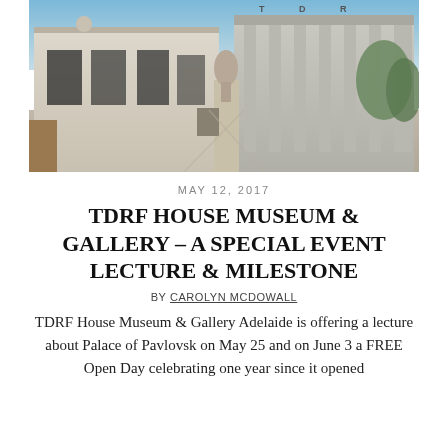[Figure (photo): Exterior photograph of TDRF House Museum & Gallery building in Adelaide, showing a classical facade on the left and a modern structure on the right, with a courtyard path between them and greenery]
MAY 12, 2017
TDRF HOUSE MUSEUM & GALLERY – A SPECIAL EVENT LECTURE & MILESTONE
BY CAROLYN MCDOWALL
TDRF House Museum & Gallery Adelaide is offering a lecture about Palace of Pavlovsk on May 25 and on June 3 a FREE Open Day celebrating one year since it opened